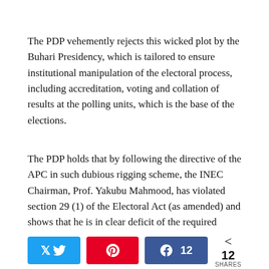The PDP vehemently rejects this wicked plot by the Buhari Presidency, which is tailored to ensure institutional manipulation of the electoral process, including accreditation, voting and collation of results at the polling units, which is the base of the elections.
The PDP holds that by following the directive of the APC in such dubious rigging scheme, the INEC Chairman, Prof. Yakubu Mahmood, has violated section 29 (1) of the Electoral Act (as amended) and shows that he is in clear deficit of the required political will to conduct a credible, free and fair election.
This is especially in the light of the boasting by agents of the
Twitter | Pinterest | Facebook 12 | 12 SHARES